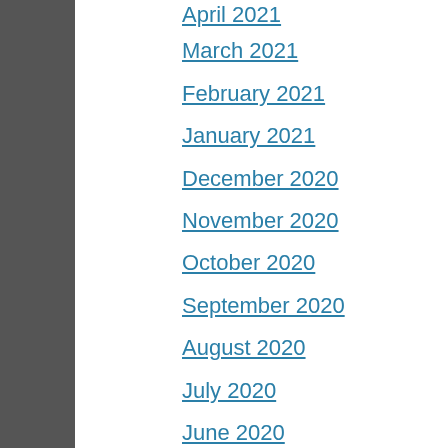April 2021
March 2021
February 2021
January 2021
December 2020
November 2020
October 2020
September 2020
August 2020
July 2020
June 2020
May 2020
April 2020
March 2020
February 2020
January 2020
December 2019